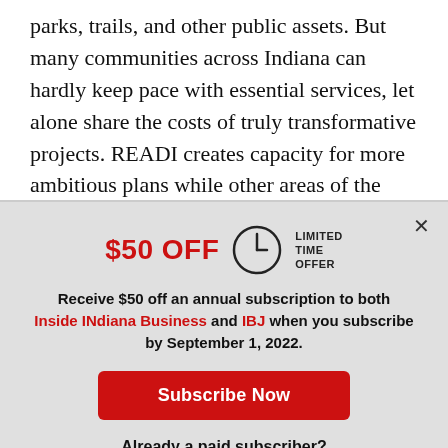parks, trails, and other public assets. But many communities across Indiana can hardly keep pace with essential services, let alone share the costs of truly transformative projects. READI creates capacity for more ambitious plans while other areas of the budget (more than a billion dollars in
$50 OFF LIMITED TIME OFFER
Receive $50 off an annual subscription to both Inside INdiana Business and IBJ when you subscribe by September 1, 2022.
Subscribe Now
Already a paid subscriber?
Log In